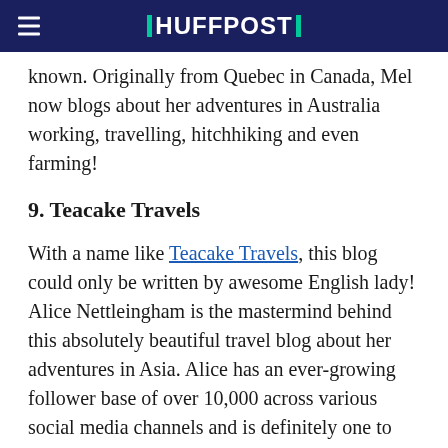HUFFPOST
known. Originally from Quebec in Canada, Mel now blogs about her adventures in Australia working, travelling, hitchhiking and even farming!
9. Teacake Travels
With a name like Teacake Travels, this blog could only be written by awesome English lady! Alice Nettleingham is the mastermind behind this absolutely beautiful travel blog about her adventures in Asia. Alice has an ever-growing follower base of over 10,000 across various social media channels and is definitely one to watch in 2016!
8. The Tourist Of Life